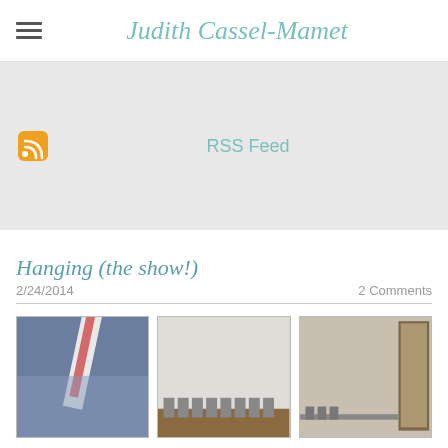Judith Cassel-Mamet
[Figure (other): RSS feed icon (orange square with wifi signal) and RSS Feed link text on gray background]
Hanging (the show!)
2/24/2014    2 Comments
[Figure (photo): Three thumbnail photos showing art installation: tall angled structure against sky, framed photos lined along gallery wall, gallery room with artwork along walls]